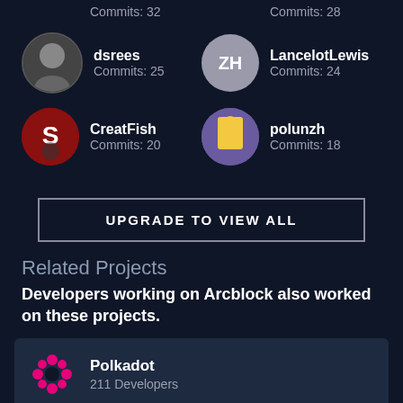Commits: 32	Commits: 28
dsrees
Commits: 25
LancelotLewis
Commits: 24
CreatFish
Commits: 20
polunzh
Commits: 18
UPGRADE TO VIEW ALL
Related Projects
Developers working on Arcblock also worked on these projects.
Polkadot
211 Developers
Akash Network
178 Developers